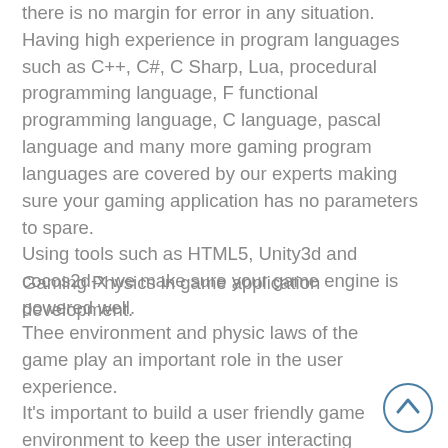there is no margin for error in any situation. Having high experience in program languages such as C++, C#, C Sharp, Lua, procedural programming language, F functional programming language, C language, pascal language and many more gaming program languages are covered by our experts making sure your gaming application has no parameters to spare. Using tools such as HTML5, Unity3d and cocos2d-x we make sure your game engine is powered well.
Gaming Physics in game application development.
Thee environment and physic laws of the game play an important role in the user experience. It's important to build a user friendly game environment to keep the user interacting with the game, physics of the game are the rules of the game which the user follows, both together have an heavy impact on deciding